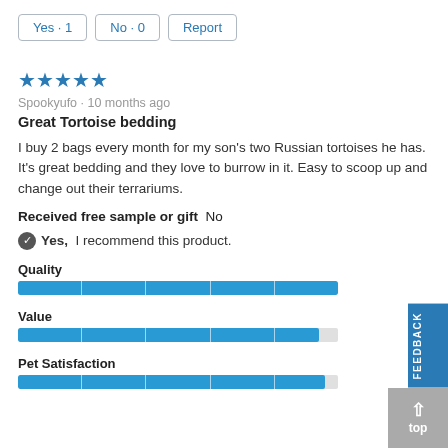Yes · 1   No · 0   Report
[Figure (other): Five blue filled star rating icons]
Spookyufo · 10 months ago
Great Tortoise bedding
I buy 2 bags every month for my son's two Russian tortoises he has. It's great bedding and they love to burrow in it. Easy to scoop up and change out their terrariums.
Received free sample or gift  No
Yes,  I recommend this product.
Quality
[Figure (other): Horizontal progress bar for Quality, fully filled in blue]
Value
[Figure (other): Horizontal progress bar for Value, nearly fully filled in blue]
Pet Satisfaction
[Figure (other): Horizontal progress bar for Pet Satisfaction, nearly fully filled in blue]